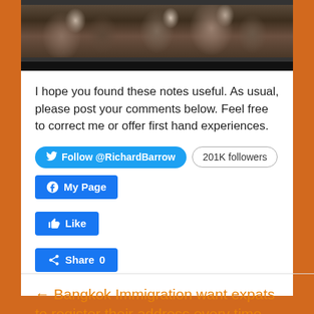[Figure (photo): A group of people sitting around a table at a restaurant or event, seen from above at an angle. Dark background with people visible.]
I hope you found these notes useful. As usual, please post your comments below. Feel free to correct me or offer first hand experiences.
Follow @RichardBarrow  201K followers
My Page
Like
Share 0
← Bangkok Immigration want expats to register their address every time they return from a holiday to another province